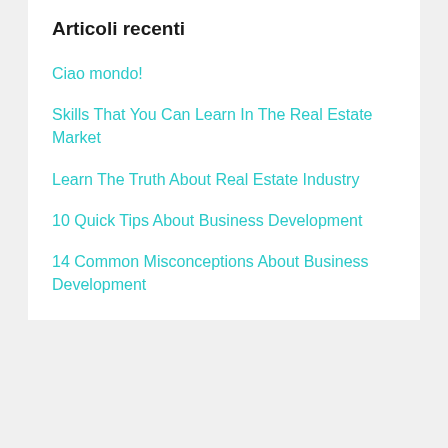Articoli recenti
Ciao mondo!
Skills That You Can Learn In The Real Estate Market
Learn The Truth About Real Estate Industry
10 Quick Tips About Business Development
14 Common Misconceptions About Business Development
Commenti recenti
Un commentatore di WordPress su Ciao mondo!